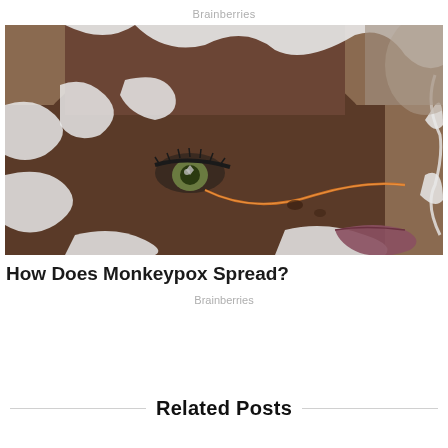Brainberries
[Figure (photo): Close-up of a person's face with artistic white face paint in flowing, organic shapes and a glowing orange line across the cheek, with green eyes and dark skin]
How Does Monkeypox Spread?
Brainberries
Related Posts